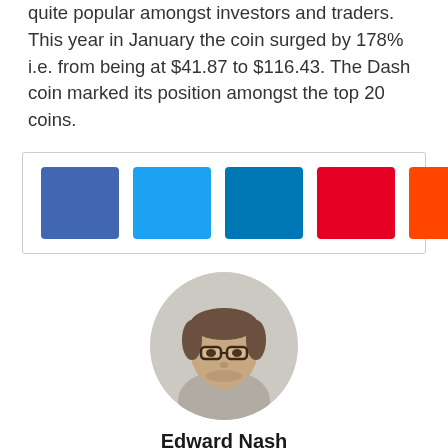quite popular amongst investors and traders. This year in January the coin surged by 178% i.e. from being at $41.87 to $116.43. The Dash coin marked its position amongst the top 20 coins.
[Figure (other): Social media share buttons: Facebook (blue), Twitter (light blue), LinkedIn (dark teal), Pinterest (red), Reddit/share (orange-red), and one more (medium blue) displayed as colored square icons in a bordered box.]
[Figure (photo): Circular cropped headshot photo of Edward Nash, a man with glasses and short brown hair.]
Edward Nash
Edward Nash is an editor and analyst with over 10 years of financial market experience. Prior to joining